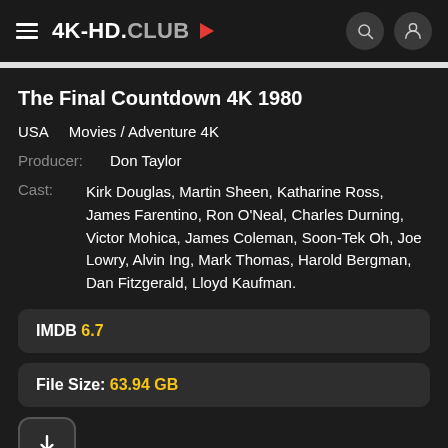4K-HD.CLUB
The Final Countdown 4K 1980
USA   Movies / Adventure 4K
Producer:   Don Taylor
Cast:   Kirk Douglas, Martin Sheen, Katharine Ross, James Farentino, Ron O'Neal, Charles Durning, Victor Mohica, James Coleman, Soon-Tek Oh, Joe Lowry, Alvin Ing, Mark Thomas, Harold Bergman, Dan Fitzgerald, Lloyd Kaufman.
IMDB 6.7
File Size: 63.94 GB